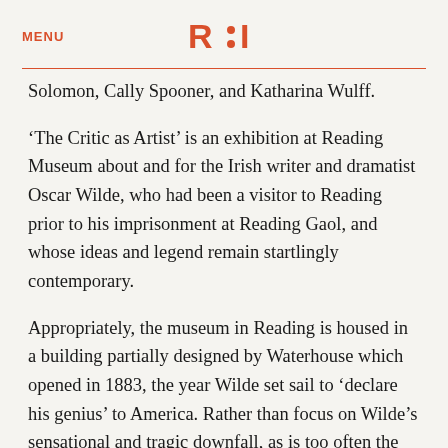MENU  R:I
Solomon, Cally Spooner, and Katharina Wulff.
‘The Critic as Artist’ is an exhibition at Reading Museum about and for the Irish writer and dramatist Oscar Wilde, who had been a visitor to Reading prior to his imprisonment at Reading Gaol, and whose ideas and legend remain startlingly contemporary.
Appropriately, the museum in Reading is housed in a building partially designed by Waterhouse which opened in 1883, the year Wilde set sail to ‘declare his genius’ to America. Rather than focus on Wilde’s sensational and tragic downfall, as is too often the case, ‘The Critic as Artist’ examines the